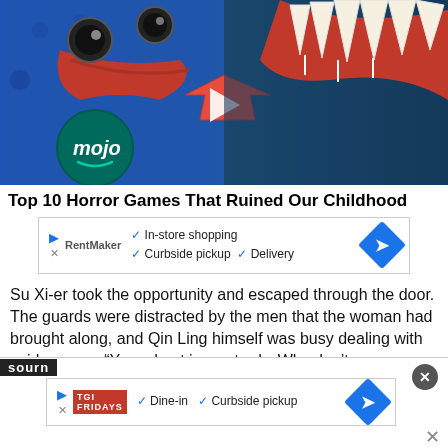[Figure (photo): Thumbnail image of a horror game character - a blue fuzzy monster with large eyes and red tongue on the left, and a terrifying red monster with large teeth on the right, with a red arrow pointing right between them. WatchMojo logo visible in bottom left.]
Top 10 Horror Games That Ruined Our Childhood
[Figure (infographic): Advertisement banner with checkmarks: In-store shopping, Curbside pickup, Delivery. Blue diamond navigation icon on right.]
Su Xi-er took the opportunity and escaped through the door. The guards were distracted by the men that the woman had brought along, and Qin Ling himself was busy dealing with said woman. “Your chest is so sturdy. Why don’t you come to my place for a visit? The girls at my place are very beautiful; there are even some who have never served any customers yet.”
[Figure (infographic): Advertisement banner for TGI Fridays with checkmarks: Dine-in, Curbside pickup. Blue diamond navigation icon on right.]